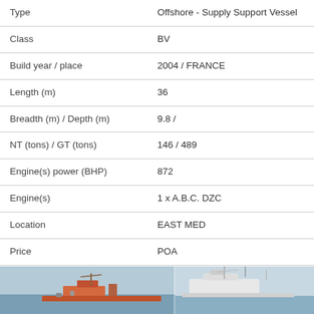| Field | Value |
| --- | --- |
| Type | Offshore - Supply Support Vessel |
| Class | BV |
| Build year / place | 2004 / FRANCE |
| Length (m) | 36 |
| Breadth (m) / Depth (m) | 9.8 / |
| NT (tons) / GT (tons) | 146 / 489 |
| Engine(s) power (BHP) | 872 |
| Engine(s) | 1 x A.B.C. DZC |
| Location | EAST MED |
| Price | POA |
[Figure (photo): Photo strip of an offshore supply support vessel at dock]